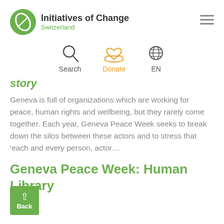Initiatives of Change Switzerland
[Figure (infographic): Navigation icons: Search (magnifying glass), Donate (heart over hand, orange), EN (globe)]
...story
Geneva is full of organizations which are working for peace, human rights and wellbeing, but they rarely come together. Each year, Geneva Peace Week seeks to break down the silos between these actors and to stress that ‘each and every person, actor...
Geneva Peace Week: Human Library